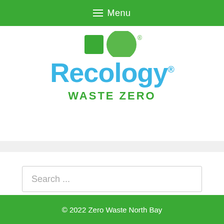≡ Menu
[Figure (logo): Recology logo with partial green square and green circle icon above, 'Recology®' in blue text, 'WASTE ZERO' in green text below]
Search ...
© 2022 Zero Waste North Bay